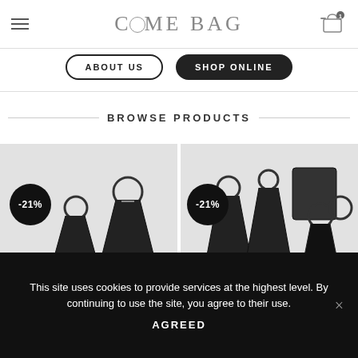COME BAG
ABOUT US | SHOP ONLINE
BROWSE PRODUCTS
[Figure (photo): Two product cards showing black leather bags with -21% discount badges]
This site uses cookies to provide services at the highest level. By continuing to use the site, you agree to their use.
AGREED